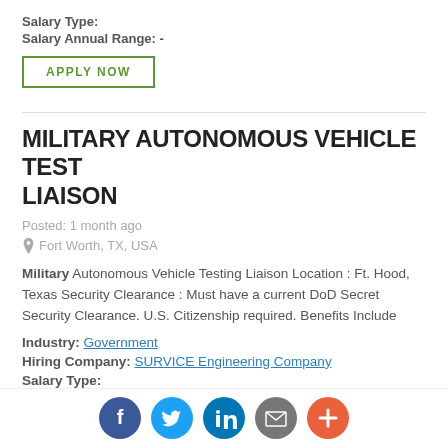Salary Type:
Salary Annual Range: –
APPLY NOW
MILITARY AUTONOMOUS VEHICLE TEST LIAISON
Posted: 1 month ago
Fort Worth, TX, USA
Military Autonomous Vehicle Testing Liaison Location : Ft. Hood, Texas Security Clearance : Must have a current DoD Secret Security Clearance. U.S. Citizenship required. Benefits Include
Industry: Government
Hiring Company: SURVICE Engineering Company
Salary Type:
[Figure (infographic): Social sharing icons: Facebook (dark blue), Twitter (blue), LinkedIn (teal/blue), Email (gray), Plus/More (orange-red)]